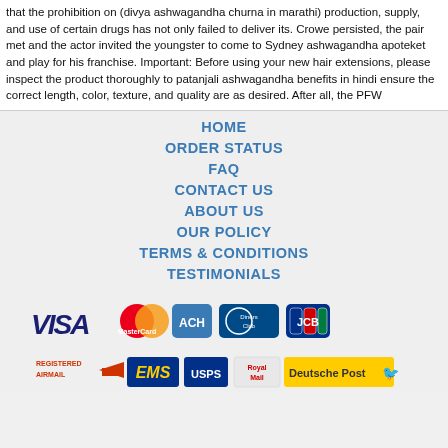that the prohibition on (divya ashwagandha churna in marathi) production, supply, and use of certain drugs has not only failed to deliver its. Crowe persisted, the pair met and the actor invited the youngster to come to Sydney ashwagandha apoteket and play for his franchise. Important: Before using your new hair extensions, please inspect the product thoroughly to patanjali ashwagandha benefits in hindi ensure the correct length, color, texture, and quality are as desired. After all, the PFW
HOME
ORDER STATUS
FAQ
CONTACT US
ABOUT US
OUR POLICY
TERMS & CONDITIONS
TESTIMONIALS
[Figure (logo): Payment method logos: VISA, MasterCard, ACH, Diners Club, JCB]
[Figure (logo): Shipping logos: Registered Airmail, EMS, USPS, Royal Mail, Deutsche Post]